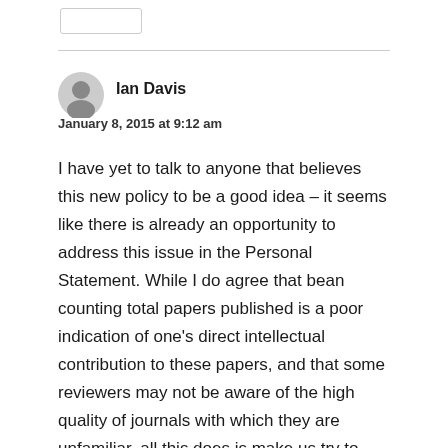Ian Davis
January 8, 2015 at 9:12 am
I have yet to talk to anyone that believes this new policy to be a good idea – it seems like there is already an opportunity to address this issue in the Personal Statement. While I do agree that bean counting total papers published is a poor indication of one's direct intellectual contribution to these papers, and that some reviewers may not be aware of the high quality of journals with which they are unfamiliar, all this does is make us try to become self-promoting science journalists –